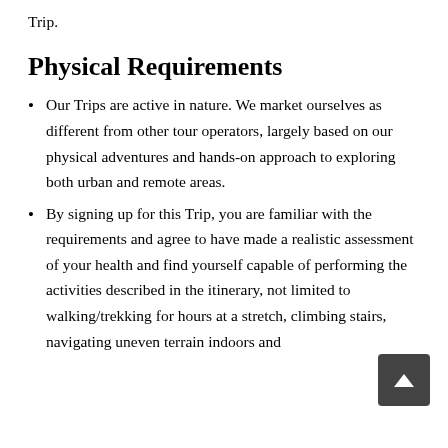Trip.
Physical Requirements
Our Trips are active in nature. We market ourselves as different from other tour operators, largely based on our physical adventures and hands-on approach to exploring both urban and remote areas.
By signing up for this Trip, you are familiar with the requirements and agree to have made a realistic assessment of your health and find yourself capable of performing the activities described in the itinerary, not limited to walking/trekking for hours at a stretch, climbing stairs, navigating uneven terrain indoors and